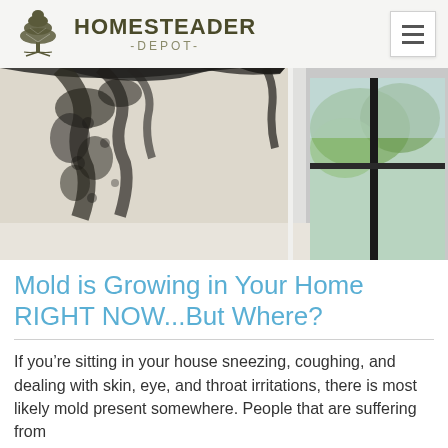HOMESTEADER -DEPOT-
[Figure (photo): Close-up photo of black mold growing in the corner of a white window frame, with a window visible on the right side showing outdoor greenery]
Mold is Growing in Your Home RIGHT NOW...But Where?
If you’re sitting in your house sneezing, coughing, and dealing with skin, eye, and throat irritations, there is most likely mold present somewhere. People that are suffering from